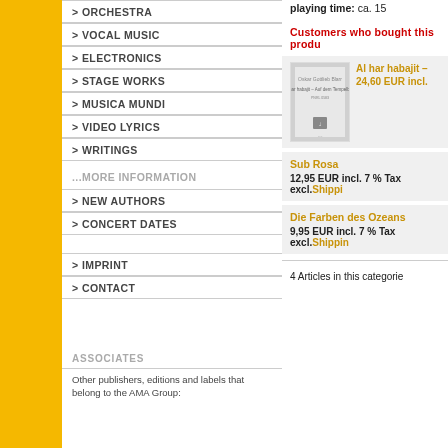> ORCHESTRA
> VOCAL MUSIC
> ELECTRONICS
> STAGE WORKS
> MUSICA MUNDI
> VIDEO LYRICS
> WRITINGS
...MORE INFORMATION
> NEW AUTHORS
> CONCERT DATES
> IMPRINT
> CONTACT
ASSOCIATES
Other publishers, editions and labels that belong to the AMA Group:
playing time: ca. 15
Customers who bought this produ
[Figure (photo): Book cover for Al har habajit]
Al har habajit – ...
24,60 EUR incl.
Sub Rosa
12,95 EUR incl. 7 % Tax excl.Shippi
Die Farben des Ozeans
9,95 EUR incl. 7 % Tax excl.Shippin
4 Articles in this categorie